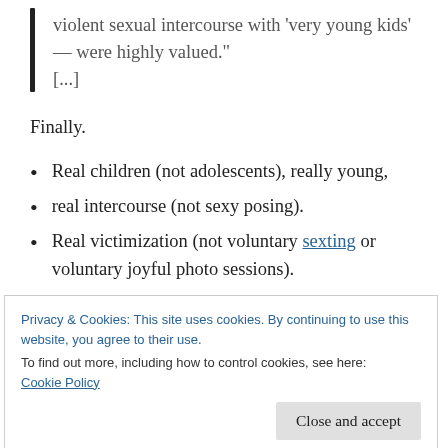violent sexual intercourse with 'very young kids' — were highly valued." [...]
Finally.
Real children (not adolescents), really young,
real intercourse (not sexy posing).
Real victimization (not voluntary sexting or voluntary joyful photo sessions).
Privacy & Cookies: This site uses cookies. By continuing to use this website, you agree to their use.
To find out more, including how to control cookies, see here:
Cookie Policy
more material through actually abusing